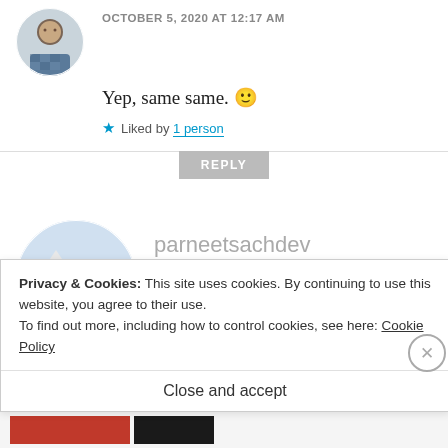[Figure (photo): Circular avatar photo of a man in a checkered shirt, partially cropped at top]
OCTOBER 5, 2020 AT 12:17 AM
Yep, same same. 🙂
★ Liked by 1 person
REPLY
[Figure (photo): Circular avatar photo of a couple (man and woman) outdoors with mountains in background]
parneetsachdev
OCTOBER 5, 2020 AT 9:49 AM
a wonderful and informative
Privacy & Cookies: This site uses cookies. By continuing to use this website, you agree to their use.
To find out more, including how to control cookies, see here: Cookie Policy
Close and accept